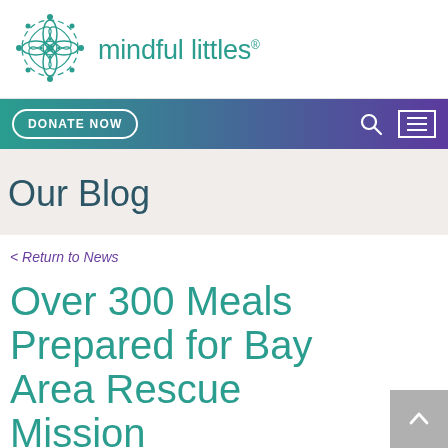mindful littles
[Figure (logo): Mindful Littles teal mandala/floral logo mark with geometric pattern]
DONATE NOW
Our Blog
< Return to News
Over 300 Meals Prepared for Bay Area Rescue Mission